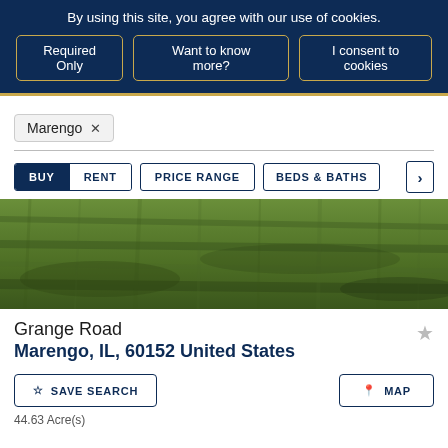By using this site, you agree with our use of cookies.
Required Only | Want to know more? | I consent to cookies
Marengo ×
BUY | RENT | PRICE RANGE | BEDS & BATHS
[Figure (photo): Green grass field property photo]
Grange Road
Marengo, IL, 60152 United States
SAVE SEARCH | MAP
44.63 Acre(s)